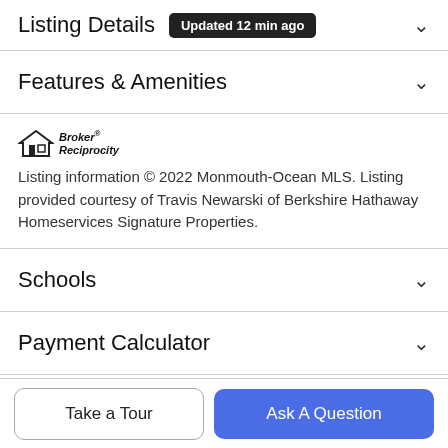Listing Details Updated 12 min ago
Features & Amenities
[Figure (logo): Broker Reciprocity logo with house icon]
Listing information © 2022 Monmouth-Ocean MLS. Listing provided courtesy of Travis Newarski of Berkshire Hathaway Homeservices Signature Properties.
Schools
Payment Calculator
Contact Agent
Take a Tour
Ask A Question